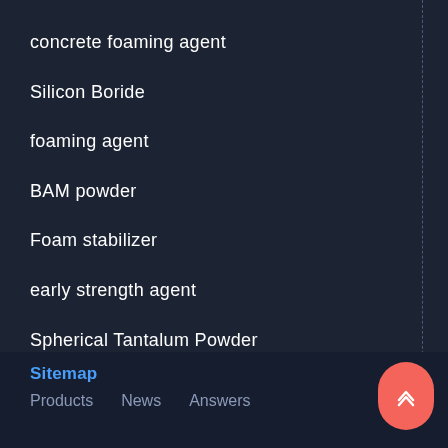concrete foaming agent
Silicon Boride
foaming agent
BAM powder
Foam stabilizer
early strength agent
Spherical Tantalum Powder
Lignosulfonate
concrete superplasticizer
Sitemap
Products  News  Answers